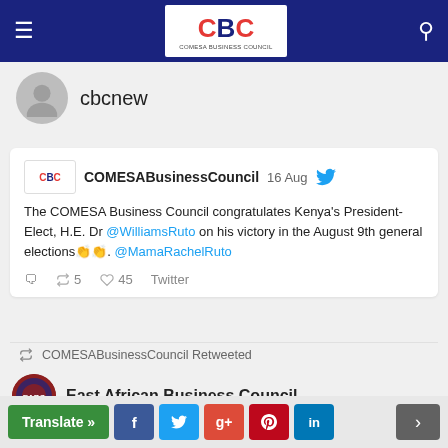CBC - COMESABusinessCouncil
cbcnew
COMESABusinessCouncil  16 Aug
The COMESA Business Council congratulates Kenya's President-Elect, H.E. Dr @WilliamsRuto on his victory in the August 9th general elections👏👏. @MamaRachelRuto
5  45  Twitter
COMESABusinessCouncil Retweeted
East African Business Council